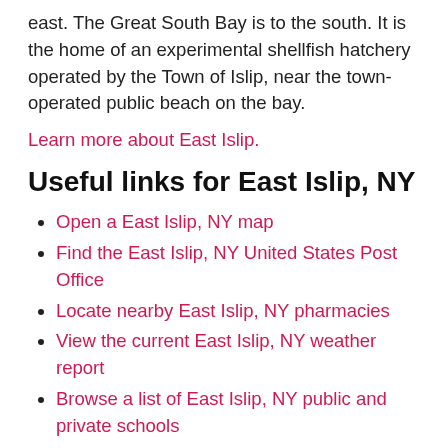east. The Great South Bay is to the south. It is the home of an experimental shellfish hatchery operated by the Town of Islip, near the town-operated public beach on the bay.
Learn more about East Islip.
Useful links for East Islip, NY
Open a East Islip, NY map
Find the East Islip, NY United States Post Office
Locate nearby East Islip, NY pharmacies
View the current East Islip, NY weather report
Browse a list of East Islip, NY public and private schools
East Islip, NY is located in Suffolk county in